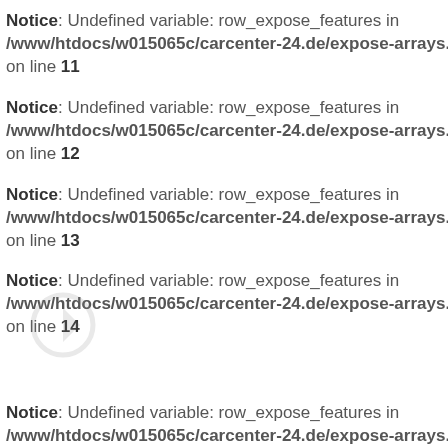Notice: Undefined variable: row_expose_features in /www/htdocs/w015065c/carcenter-24.de/expose-arrays.php on line 11
Notice: Undefined variable: row_expose_features in /www/htdocs/w015065c/carcenter-24.de/expose-arrays.php on line 12
Notice: Undefined variable: row_expose_features in /www/htdocs/w015065c/carcenter-24.de/expose-arrays.php on line 13
Notice: Undefined variable: row_expose_features in /www/htdocs/w015065c/carcenter-24.de/expose-arrays.php on line 14
Notice: Undefined variable: row_expose_features in /www/htdocs/w015065c/carcenter-24.de/expose-arrays.php